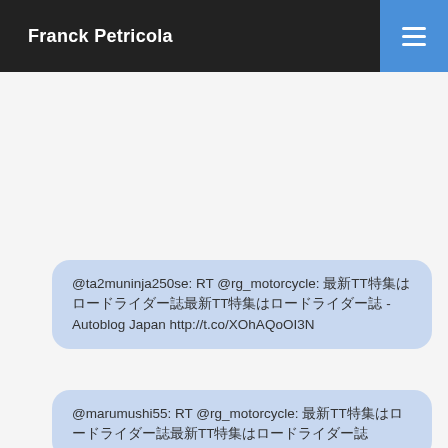Franck Petricola
@ta2muninja250se: RT @rg_motorcycle: 最新TT特集はロードライダー誌 - Autoblog Japan http://t.co/XOhAQoOI3N
@marumushi55: RT @rg_motorcycle: 最新TT特集はロードライダー誌